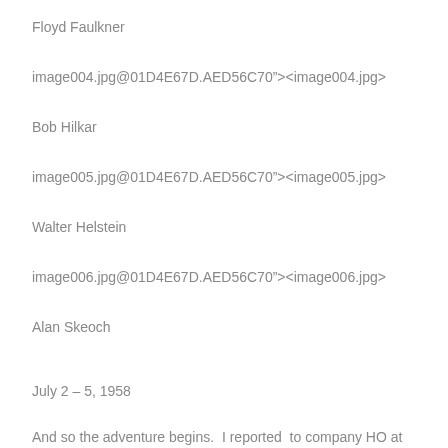Floyd Faulkner
image004.jpg@01D4E67D.AED56C70”><image004.jpg>
Bob Hilkar
image005.jpg@01D4E67D.AED56C70”><image005.jpg>
Walter Helstein
image006.jpg@01D4E67D.AED56C70”><image006.jpg>
Alan Skeoch
July 2 – 5, 1958
And so the adventure begins.  I reported  to company HO at